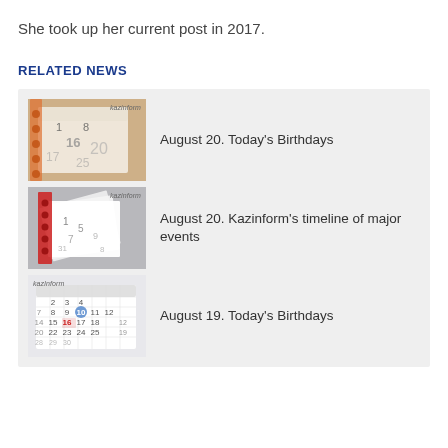She took up her current post in 2017.
RELATED NEWS
August 20. Today's Birthdays
August 20. Kazinform's timeline of major events
August 19. Today's Birthdays